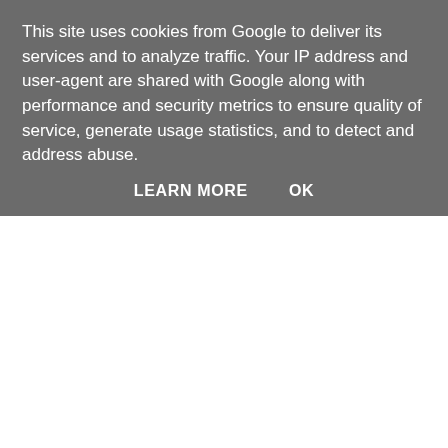This site uses cookies from Google to deliver its services and to analyze traffic. Your IP address and user-agent are shared with Google along with performance and security metrics to ensure quality of service, generate usage statistics, and to detect and address abuse.
LEARN MORE    OK
[Figure (other): Webpage screenshot partially visible below cookie consent banner. Left section has a peach/salmon colored background. Center and right sections show white background with a bordered box area. Text 'Iceland G' partially visible at bottom right, and row starting with '4th' rank and text 'Plenty of coverage today produce... grounded migrants. The best of th...' partially cut off at the bottom.]